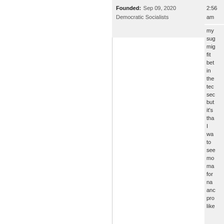Founded: Sep 09, 2020
Democratic Socialists
2:56 am
my sug mig fit bet in the tec sec but it's tha I wa to see mo ma for na anc pro like